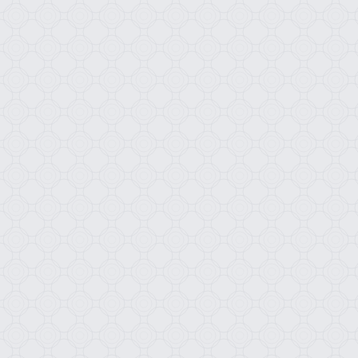[Figure (other): Light gray background with subtle repeating circular/retro pattern texture covering the entire page]
Retro Circles